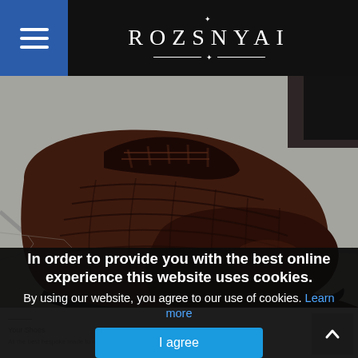[Figure (logo): ROZSNYAI brand logo with decorative lines on black header bar]
[Figure (photo): Close-up photo of a dark brown crocodile-leather Oxford shoe on a concrete pavement surface]
In order to provide you with the best online experience this website uses cookies.
By using our website, you agree to our use of cookies. Learn more
I agree